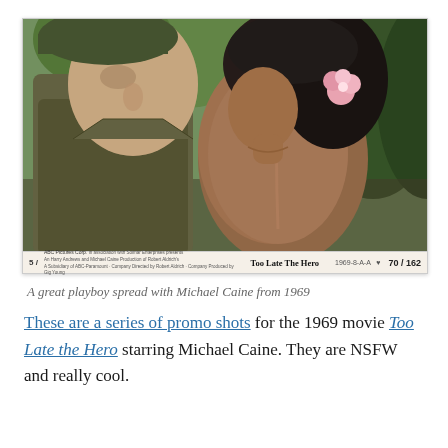[Figure (photo): A lobby card from the 1969 movie 'Too Late the Hero' showing a male soldier in military uniform and beret facing a woman with a flower in her hair, set against jungle foliage background. The lobby card strip at the bottom reads '5/', ABC Pictures Corp credits, 'Too Late The Hero', and '70/162'.]
A great playboy spread with Michael Caine from 1969
These are a series of promo shots for the 1969 movie Too Late the Hero starring Michael Caine. They are NSFW and really cool.